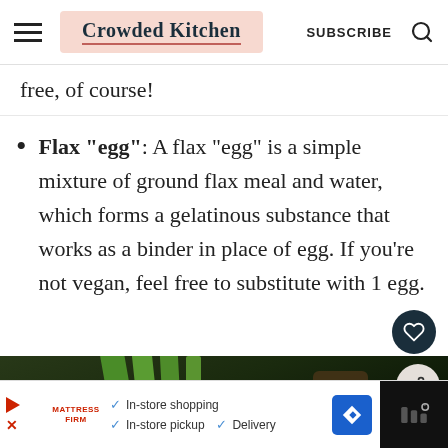Crowded Kitchen | SUBSCRIBE
free, of course!
Flax "egg": A flax "egg" is a simple mixture of ground flax meal and water, which forms a gelatinous substance that works as a binder in place of egg. If you're not vegan, feel free to substitute with 1 egg.
[Figure (photo): Dark close-up photo of green vegetable stalks with food items]
In-store shopping  In-store pickup  Delivery